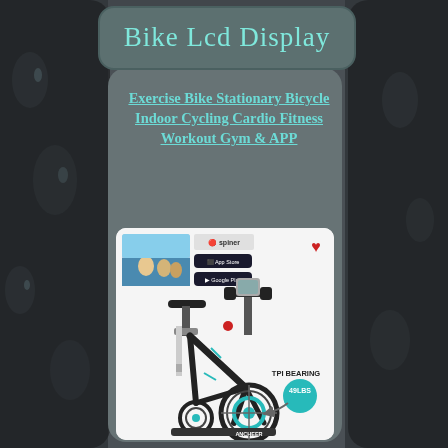Bike Lcd Display
Exercise Bike Stationary Bicycle Indoor Cycling Cardio Fitness Workout Gym & APP
[Figure (photo): Product photo of ANCHEER stationary exercise bike / indoor cycling bike. Shows the black bike with TPI BEARING label and 49LBS flywheel callout. App store badges and a lifestyle cycling image shown in upper portion.]